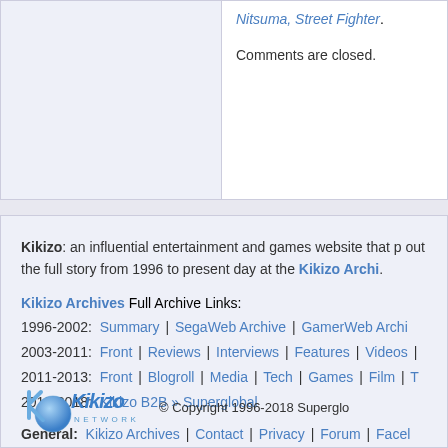Nitsuma, Street Fighter.
Comments are closed.
Kikizo: an influential entertainment and games website that p... out the full story from 1996 to present day at the Kikizo Archi...
Kikizo Archives Full Archive Links:
1996-2002: Summary | SegaWeb Archive | GamerWeb Archi...
2003-2011: Front | Reviews | Interviews | Features | Videos | ...
2011-2013: Front | Blogroll | Media | Tech | Games | Film | T...
2012-2018: Kikizo B2B » Superglobal
General: Kikizo Archives | Contact | Privacy | Forum | Facel...
[Figure (logo): Kikizo Network logo with stylized K and globe icon]
© Copyright 1996-2018 Superglo...